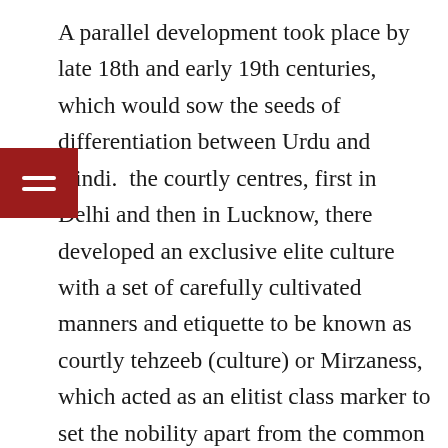A parallel development took place by late 18th and early 19th centuries, which would sow the seeds of differentiation between Urdu and Hindi. [In] the courtly centres, first in Delhi and then in Lucknow, there developed an exclusive elite culture with a set of carefully cultivated manners and etiquette to be known as courtly tehzeeb (culture) or Mirzaness, which acted as an elitist class marker to set the nobility apart from the common people. 5 They promoted a heavily Persianised idiom, with emphasis on correctness of style and usage, which was carefully purged of all words of Dakhini, Hindavi and Sanskrit origin to distinguish it from ordinary Hindavi. Since it was largely used by the Muslim nobility attached